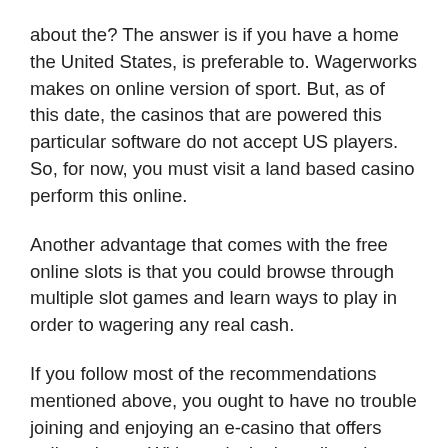about the? The answer is if you have a home the United States, is preferable to. Wagerworks makes on online version of sport. But, as of this date, the casinos that are powered this particular software do not accept US players. So, for now, you must visit a land based casino perform this online.
Another advantage that comes with the free online slots is that you could browse through multiple slot games and learn ways to play in order to wagering any real cash.
If you follow most of the recommendations mentioned above, you ought to have no trouble joining and enjoying an e-casino that offers online places. With any luck, the online slot Gods will look down done to favorably, and you will become the following instant millionaire thanks to those wonderful organizations.